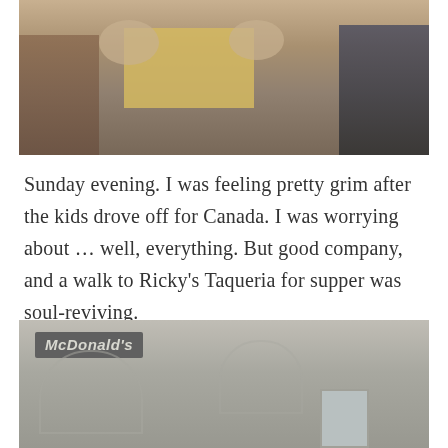[Figure (photo): People sitting at an outdoor table with food, viewed from the side/below. A yellow table is visible with plates of food on top. Two people are partially visible on either side.]
Sunday evening. I was feeling pretty grim after the kids drove off for Canada. I was worrying about … well, everything. But good company, and a walk to Ricky's Taqueria for supper was soul-reviving.
[Figure (photo): Exterior photo of a building with a McDonald's sign on the wall. The building facade is a plain grey/beige concrete with architectural arch details and a small window visible.]